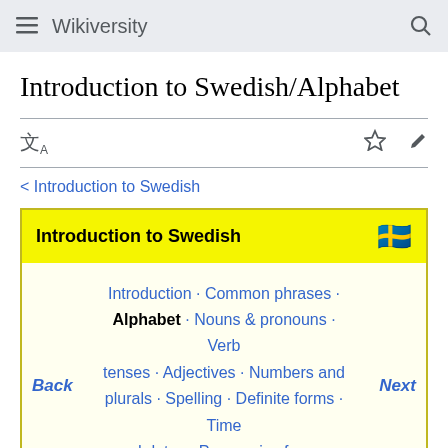Wikiversity
Introduction to Swedish/Alphabet
< Introduction to Swedish
Introduction to Swedish
Introduction · Common phrases · Alphabet · Nouns & pronouns · Verb tenses · Adjectives · Numbers and plurals · Spelling · Definite forms · Time and dates · Possessive forms · Agreement of forms · Traveling ·
Back
Next